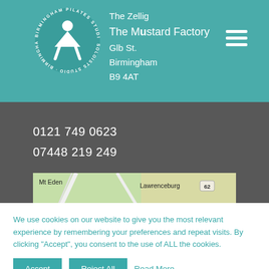[Figure (logo): Birmingham Pilates Studios circular logo with a figure/person icon in white on teal circle, text around the circle reads BIRMINGHAM PILATES STUDIOS]
The Zellig
The Mustard Factory
Glb St.
Birmingham
B9 4AT
0121 749 0623
07448 219 249
[Figure (map): Partial map showing Mt Eden and Lawrenceburg area with route 62 marker]
We use cookies on our website to give you the most relevant experience by remembering your preferences and repeat visits. By clicking “Accept”, you consent to the use of ALL the cookies.
Accept
Reject All
Read More